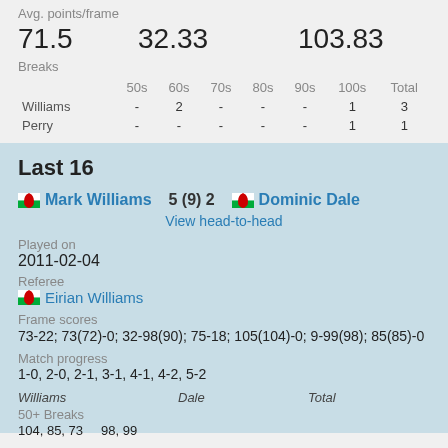Avg. points/frame
71.5   32.33   103.83
Breaks
|  | 50s | 60s | 70s | 80s | 90s | 100s | Total |
| --- | --- | --- | --- | --- | --- | --- | --- |
| Williams | - | 2 | - | - | - | 1 | 3 |
| Perry | - | - | - | - | - | 1 | 1 |
Last 16
Mark Williams 5 (9) 2 Dominic Dale
View head-to-head
Played on
2011-02-04
Referee
Eirian Williams
Frame scores
73-22; 73(72)-0; 32-98(90); 75-18; 105(104)-0; 9-99(98); 85(85)-0
Match progress
1-0, 2-0, 2-1, 3-1, 4-1, 4-2, 5-2
Williams   Dale   Total
50+ Breaks
104, 85, 73   98, 99